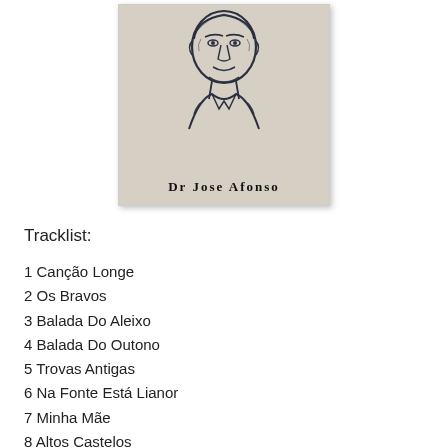[Figure (illustration): Sketch portrait of a man (Dr Jose Afonso) in dark ink on beige/tan background, with the text 'Dr Jose Afonso' printed in bold serif font below the portrait.]
Tracklist:
1 Canção Longe
2 Os Bravos
3 Balada Do Aleixo
4 Balada Do Outono
5 Trovas Antigas
6 Na Fonte Está Lianor
7 Minha Mãe
8 Altos Castelos
9 O Pastor De Bensafrim